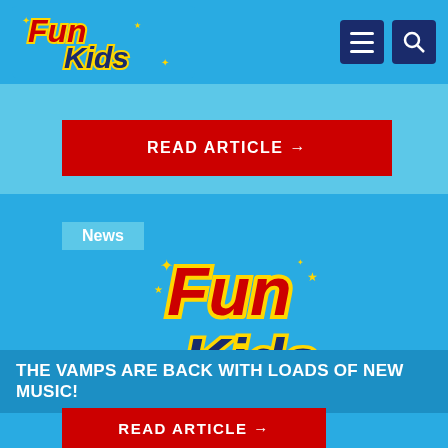Fun Kids
READ ARTICLE →
News
[Figure (logo): Fun Kids logo — 'Fun' in red with yellow outline and stars, 'Kids' in dark navy blue, on blue background]
THE VAMPS ARE BACK WITH LOADS OF NEW MUSIC!
READ ARTICLE →